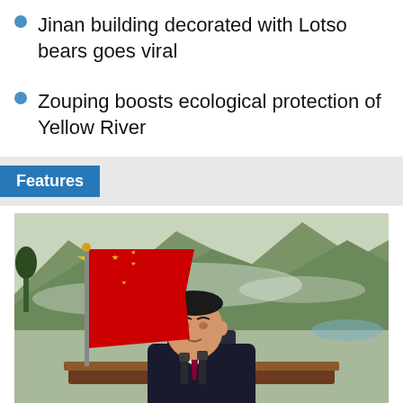Jinan building decorated with Lotso bears goes viral
Zouping boosts ecological protection of Yellow River
Features
[Figure (photo): A man in a dark suit seated at a table with microphones, with a large Chinese flag to his left and a traditional landscape painting in the background.]